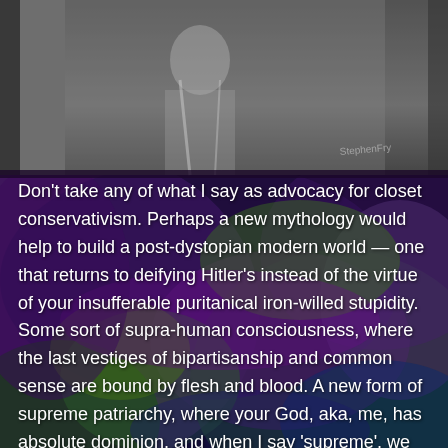[Figure (photo): Top portion shows a grayscale photograph of a person, partially visible, with colorful psychedelic abstract pattern (marbled purple, green, blue tones) covering the lower two-thirds of the image as background.]
Don't take any of what I say as advocacy for closet conservativism. Perhaps a new mythology would help to build a post-dystopian modern world — one that returns to deifying Hitler's instead of the virtue of your insufferable puritanical iron-willed stupidity. Some sort of supra-human consciousness, where the last vestiges of bipartisanship and common sense are bound by flesh and blood. A new form of supreme patriarchy, where your God, aka, me, has absolute dominion, and when I say 'supreme', we mean 'divine'. Every